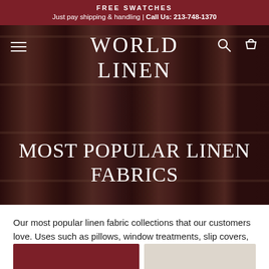FREE SWATCHES
Just pay shipping & handling | Call Us: 213-748-1370
[Figure (screenshot): Hero banner image showing rolls of dark brown/maroon linen fabric stacked vertically, with a semi-transparent dark overlay. Contains the World Linen brand logo in white serif text, hamburger menu icon on left, search and cart icons on right, and the headline 'MOST POPULAR LINEN FABRICS' in large white serif text.]
WORLD LINEN
MOST POPULAR LINEN FABRICS
Our most popular linen fabric collections that our customers love. Uses such as pillows, window treatments, slip covers, table decor and upholstery all have linen fabrics that work great for each application.